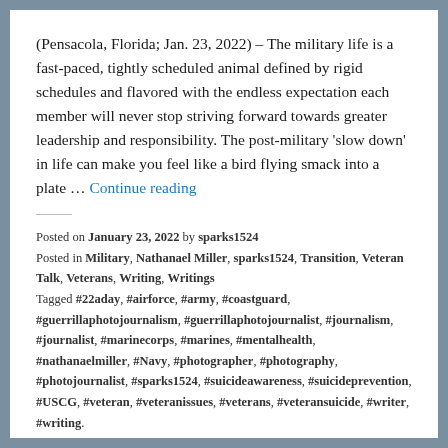(Pensacola, Florida; Jan. 23, 2022) – The military life is a fast-paced, tightly scheduled animal defined by rigid schedules and flavored with the endless expectation each member will never stop striving forward towards greater leadership and responsibility. The post-military 'slow down' in life can make you feel like a bird flying smack into a plate … Continue reading
Posted on January 23, 2022 by sparks1524 Posted in Military, Nathanael Miller, sparks1524, Transition, Veteran Talk, Veterans, Writing, Writings Tagged #22aday, #airforce, #army, #coastguard, #guerrillaphotojournalism, #guerrillaphotojournalist, #journalism, #journalist, #marinecorps, #marines, #mentalhealth, #nathanaelmiller, #Navy, #photographer, #photography, #photojournalist, #sparks1524, #suicideawareness, #suicideprevention, #USCG, #veteran, #veteranissues, #veterans, #veteransuicide, #writer, #writing.